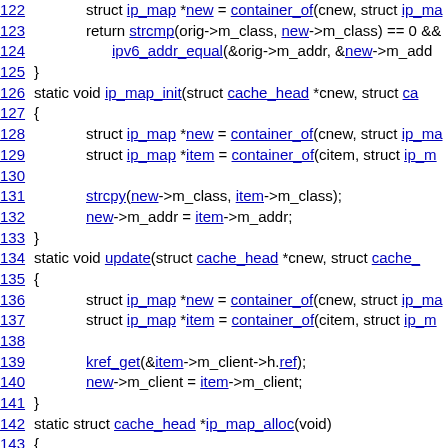122     struct ip_map *new = container_of(cnew, struct ip_ma
123     return strcmp(orig->m_class, new->m_class) == 0 &&
124         ipv6_addr_equal(&orig->m_addr, &new->m_add
125 }
126 static void ip_map_init(struct cache_head *cnew, struct ca
127 {
128     struct ip_map *new = container_of(cnew, struct ip_ma
129     struct ip_map *item = container_of(citem, struct ip_m
130
131     strcpy(new->m_class, item->m_class);
132     new->m_addr = item->m_addr;
133 }
134 static void update(struct cache_head *cnew, struct cache_
135 {
136     struct ip_map *new = container_of(cnew, struct ip_ma
137     struct ip_map *item = container_of(citem, struct ip_m
138
139     kref_get(&item->m_client->h.ref);
140     new->m_client = item->m_client;
141 }
142 static struct cache_head *ip_map_alloc(void)
143 {
144     struct ip_map *i = kmalloc(sizeof(*i), GFP_KERNEL);
145     if (i)
146         return &i->h;